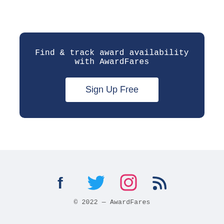Find & track award availability with AwardFares
Sign Up Free
[Figure (infographic): Social media icons: Facebook (dark blue), Twitter (light blue), Instagram (pink/red outline), RSS feed (dark blue)]
© 2022 — AwardFares